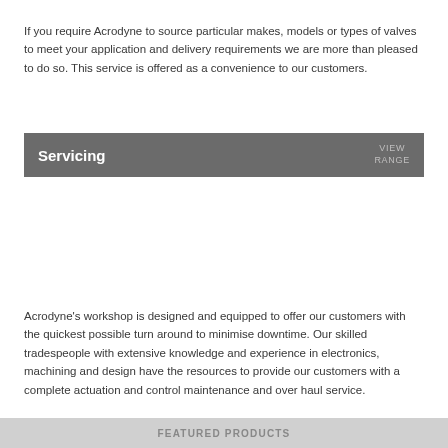If you require Acrodyne to source particular makes, models or types of valves to meet your application and delivery requirements we are more than pleased to do so. This service is offered as a convenience to our customers.
Servicing VIEW RANGE
Acrodyne's workshop is designed and equipped to offer our customers with the quickest possible turn around to minimise downtime. Our skilled tradespeople with extensive knowledge and experience in electronics, machining and design have the resources to provide our customers with a complete actuation and control maintenance and over haul service.
FEATURED PRODUCTS